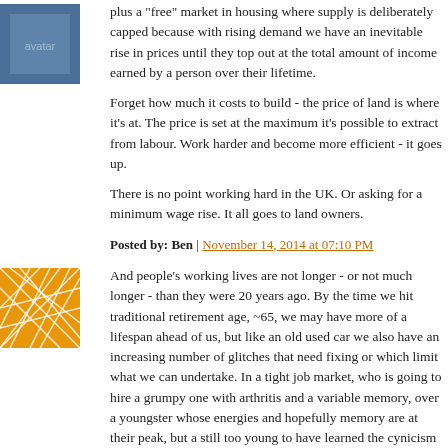[Figure (illustration): Small avatar image, blue/grey colored, top left of first comment block]
plus a "free" market in housing where supply is deliberately capped be... demand we have an inevitable rise in prices until they top out at the to... income earned by a person over their lifetime.
Forget how much it costs to build - the price of land is where it's at. Th... is set at the maximum it's possible to extract from labour. Work harder... more efficient - it goes up.
There is no point working hard in the UK. Or asking for a minimum w... rise. It all goes to land owners.
Posted by: Ben | November 14, 2014 at 07:10 PM
[Figure (illustration): Small avatar image, orange with white geometric line pattern]
And people's working lives are not longer - or not much longer - than t... were 20 years ago. By the time we hit traditional retirement age, ~65, w... may have more of a lifespan ahead of us, but like an old used car we al... have an increasing number of glitches that need fixing or which limit w... we can undertake. In a tight job market, who is going to hire a grumpy... with arthritis and a variable memory, over a youngster whose energies... hopefully memory are at their peak, but a still too young to have learne... cynicism of the much downsized and lied-to?
Our new manager bounced in last summer with promises of bonuses a... special treats if we hit certain sales targets. He is thirty. We, in contrast... in age from the late fourties to early sixties, and tried our best to hum...